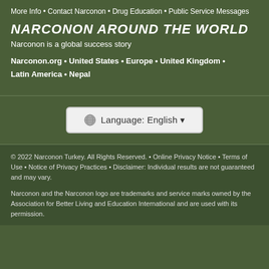More Info • Contact Narconon • Drug Education • Public Service Messages
NARCONON AROUND THE WORLD
Narconon is a global success story
Narconon.org • United States • Europe • United Kingdom • Latin America • Nepal
Language: English
© 2022 Narconon Turkey. All Rights Reserved. • Online Privacy Notice • Terms of Use • Notice of Privacy Practices • Disclaimer: Individual results are not guaranteed and may vary.
Narconon and the Narconon logo are trademarks and service marks owned by the Association for Better Living and Education International and are used with its permission.